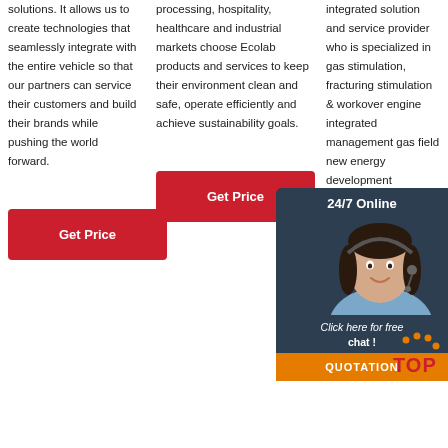solutions. It allows us to create technologies that seamlessly integrate with the entire vehicle so that our partners can service their customers and build their brands while pushing the world forward.
processing, hospitality, healthcare and industrial markets choose Ecolab products and services to keep their environment clean and safe, operate efficiently and achieve sustainability goals.
integrated solution and service provider who is specialized in gas stimulation, fracturing stimulation & workover engine integrated management gas field new energy development integrated oilfield chemicals & downhole tools, the business covered oil & gas field stimulation and …
[Figure (other): 24/7 Online chat widget with agent photo, 'Click here for free chat!' text, and QUOTATION button]
[Figure (logo): TOP logo badge with orange dots and red text]
Get Price
Get Price